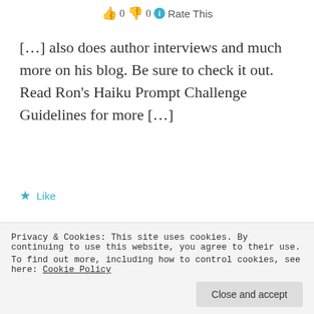👍 0 👎 0 ℹ Rate This
[…] also does author interviews and much more on his blog. Be sure to check it out. Read Ron's Haiku Prompt Challenge Guidelines for more […]
★ Like
Haiku Friday – Spring & Fresh | The Writer Next Door
March 31, 2017 at 12:30 am
Privacy & Cookies: This site uses cookies. By continuing to use this website, you agree to their use. To find out more, including how to control cookies, see here: Cookie Policy
Close and accept
check it out. Read Ron's Haiku Prompt